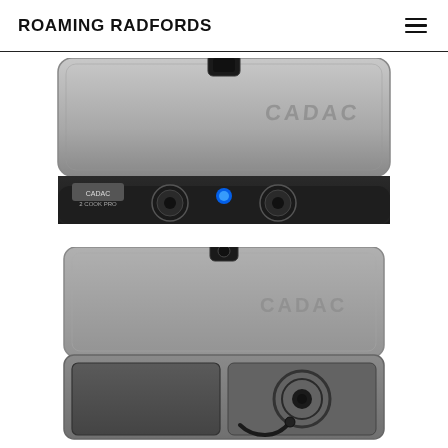ROAMING RADFORDS
[Figure (photo): Top-down view of a CADAC 2 Cook BBQ Pro portable camping stove in closed/flat position, showing silver/grey lid with CADAC branding, two black control knobs, a blue indicator light, and a black carry handle latch]
[Figure (photo): Open view of CADAC 2 Cook BBQ Pro portable camping stove with lid propped open showing CADAC branding, removable flat griddle plate on left side, and gas burner with hose on right side]